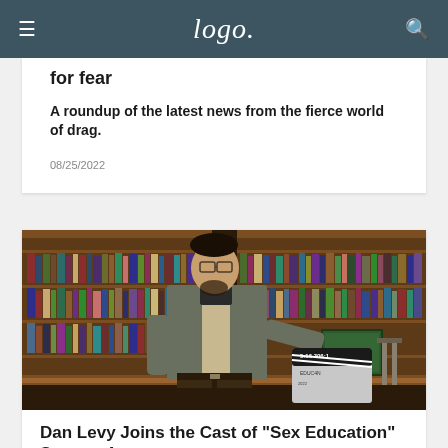Logo
for fear
A roundup of the latest news from the fierce world of drag.
08/25/2022
[Figure (photo): Man standing in a library in front of bookshelves, wearing glasses and a grey cardigan over a plaid shirt, holding a clapperboard]
Dan Levy Joins the Cast of "Sex Education" Season 4